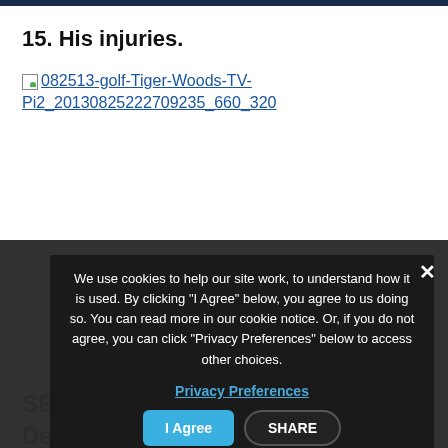15. His injuries.
[Figure (other): Broken image placeholder with link: 082513-golf-Tiger-Woods-TV-Pi2_20130825222709235_660_320]
SEE ALSO: Tiger Woods: Is Rogers Decrepit...
16. His many p...
[Figure (other): Broken image placeholder with link: Hunter Martin/Getty Images]
We use cookies to help our site work, to understand how it is used. By clicking “I Agree” below, you agree to us doing so. You can read more in our cookie notice. Or, if you do not agree, you can click "Privacy Preferences" below to access other choices.
Privacy Preferences
I Agree
SHARE